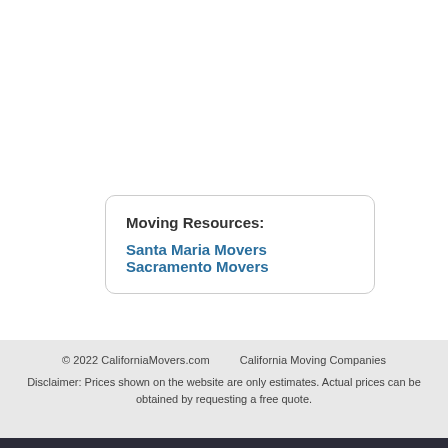Moving Resources:
Santa Maria Movers
Sacramento Movers
© 2022 CaliforniaMovers.com      California Moving Companies
Disclaimer: Prices shown on the website are only estimates. Actual prices can be obtained by requesting a free quote.